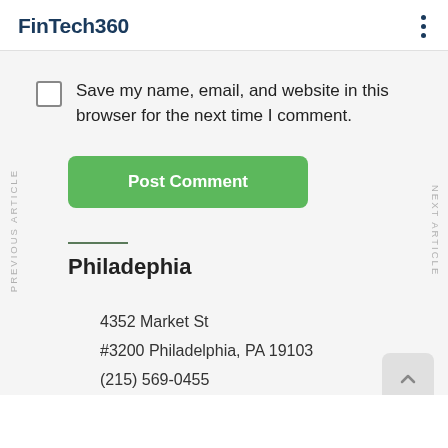FinTech360
Save my name, email, and website in this browser for the next time I comment.
Post Comment
PREVIOUS ARTICLE
NEXT ARTICLE
Philadephia
4352 Market St
#3200 Philadelphia, PA 19103
(215) 569-0455